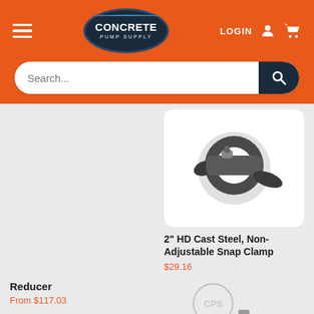[Figure (logo): Concrete Pump Supply website header with orange background, hamburger menu, oval logo, LOGIN text, person icon, and cart icon]
Search...
[Figure (photo): 2 inch HD Cast Steel Non-Adjustable Snap Clamp product photo on white background]
Reducer
From $117.03
2" HD Cast Steel, Non-Adjustable Snap Clamp
$29.16
[Figure (photo): Partial product photo with CPS logo watermark, showing green and metal part]